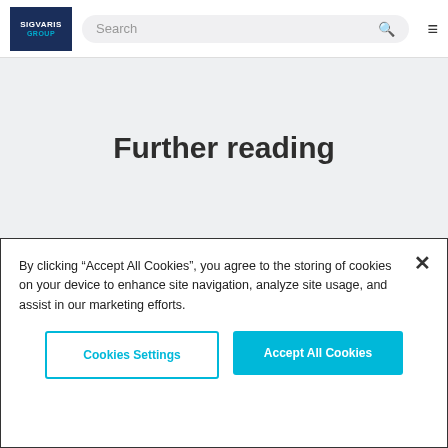[Figure (logo): SIGVARIS GROUP logo in dark navy box with cyan GROUP text]
Search
[Figure (screenshot): Blurred medical image of white compression garments or feet]
Further reading
By clicking “Accept All Cookies”, you agree to the storing of cookies on your device to enhance site navigation, analyze site usage, and assist in our marketing efforts.
Cookies Settings
Accept All Cookies